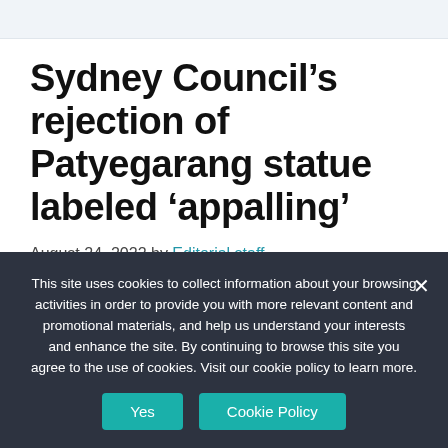Sydney Council’s rejection of Patyegarang statue labeled ‘appalling’
August 24, 2022 by Editorial staff
This site uses cookies to collect information about your browsing activities in order to provide you with more relevant content and promotional materials, and help us understand your interests and enhance the site. By continuing to browse this site you agree to the use of cookies. Visit our cookie policy to learn more.